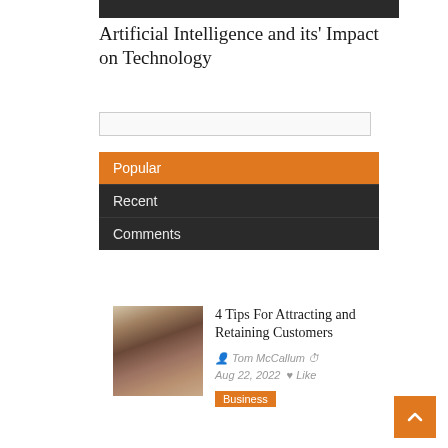[Figure (photo): Partial dark image at top, appears to be a cropped photo]
Artificial Intelligence and its' Impact on Technology
[Search box]
Popular
Recent
Comments
[Figure (photo): Two people shaking hands, smiling — business meeting photo]
4 Tips For Attracting and Retaining Customers
Tom McCallum  Aug 22, 2022  Like
Business